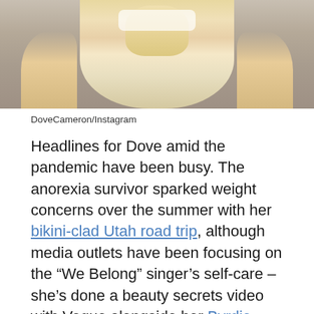[Figure (photo): Partial photo of a blonde person (Dove Cameron) sitting, cropped at top of page, background appears to be brownish/grey tones.]
DoveCameron/Instagram
Headlines for Dove amid the pandemic have been busy. The anorexia survivor sparked weight concerns over the summer with her bikini-clad Utah road trip, although media outlets have been focusing on the “We Belong” singer’s self-care – she’s done a beauty secrets video with Vogue alongside her Byrdie feature.